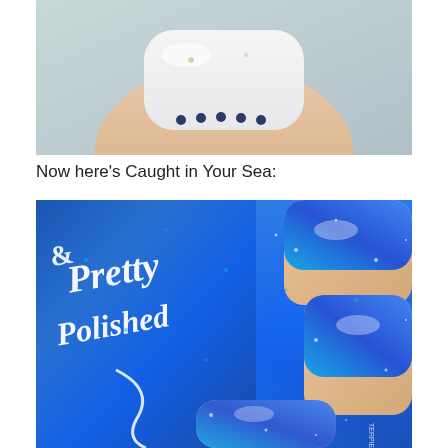[Figure (photo): Close-up photo of a fingernail painted white with small dark blue dot nail art decorations along the tip]
Now here's Caught in Your Sea:
[Figure (photo): Close-up photo of a nail polish bottle labeled 'Pretty Polished' and hand with nails painted in a sparkling bright blue glitter holographic polish called 'Caught in Your Sea']